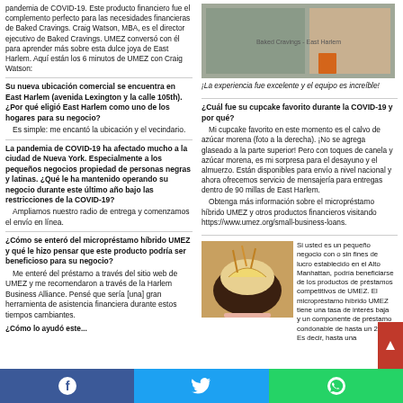pandemia de COVID-19. Este producto financiero fue el complemento perfecto para las necesidades financieras de Baked Cravings. Craig Watson, MBA, es el director ejecutivo de Baked Cravings. UMEZ conversó con él para aprender más sobre esta dulce joya de East Harlem. Aquí están los 6 minutos de UMEZ con Craig Watson:
[Figure (photo): Exterior of Baked Cravings store on a street corner in East Harlem]
¡La experiencia fue excelente y el equipo es increíble!
Su nueva ubicación comercial se encuentra en East Harlem (avenida Lexington y la calle 105th). ¿Por qué eligió East Harlem como uno de los hogares para su negocio?
Es simple: me encantó la ubicación y el vecindario.
¿Cuál fue su cupcake favorito durante la COVID-19 y por qué?
Mi cupcake favorito en este momento es el calvo de azúcar morena (foto a la derecha). ¡No se agrega glaseado a la parte superior! Pero con toques de canela y azúcar morena, es mi sorpresa para el desayuno y el almuerzo. Están disponibles para envío a nivel nacional y ahora ofrecemos servicio de mensajería para entregas dentro de 90 millas de East Harlem.
La pandemia de COVID-19 ha afectado mucho a la ciudad de Nueva York. Especialmente a los pequeños negocios propiedad de personas negras y latinas. ¿Qué le ha mantenido operando su negocio durante este último año bajo las restricciones de la COVID-19?
Ampliamos nuestro radio de entrega y comenzamos el envío en línea.
Obtenga más información sobre el micropréstamo híbrido UMEZ y otros productos financieros visitando https://www.umez.org/small-business-loans.
¿Cómo se enteró del micropréstamo híbrido UMEZ y qué le hizo pensar que este producto podría ser beneficioso para su negocio?
Me enteré del préstamo a través del sitio web de UMEZ y me recomendaron a través de la Harlem Business Alliance. Pensé que sería [una] gran herramienta de asistencia financiera durante estos tiempos cambiantes.
[Figure (photo): Close-up photo of a cupcake with caramel drizzle on top]
Si usted es un pequeño negocio con o sin fines de lucro establecido en el Alto Manhattan, podría beneficiarse de los productos de préstamos competitivos de UMEZ. El micropréstamo híbrido UMEZ tiene una tasa de interés baja y un componente de préstamo condonable de hasta un 25%. Es decir, hasta una
¿Cómo lo ayudó este...